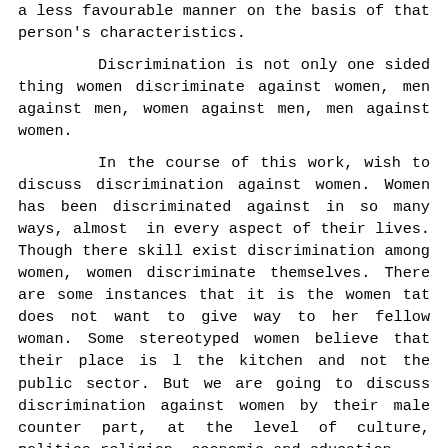a less favourable manner on the basis of that person's characteristics.
Discrimination is not only one sided thing women discriminate against women, men against men, women against men, men against women.
In the course of this work, wish to discuss discrimination against women. Women has been discriminated against in so many ways, almost in every aspect of their lives. Though there skill exist discrimination among women, women discriminate themselves. There are some instances that it is the women tat does not want to give way to her fellow woman. Some stereotyped women believe that their place is l the kitchen and not the public sector. But we are going to discuss discrimination against women by their male counter part, at the level of culture, politics religion, economic and education.
Sex discrimination refers to the deferential treatment of women and men on the basis of their categorical membership, gender without consideration of individual differences in terms of ability competence, inclination and commitment. Women occupy the inferior positions and regarded as the weaker sex. They are the ones who receive